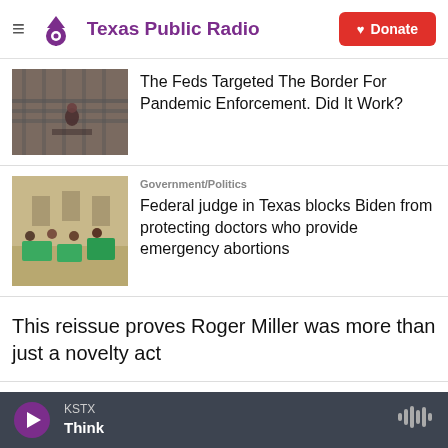[Figure (logo): Texas Public Radio logo with purple Texas icon and text, hamburger menu icon on left, red Donate button on right]
[Figure (photo): Photo of people at a border fence area, news thumbnail]
The Feds Targeted The Border For Pandemic Enforcement. Did It Work?
[Figure (photo): Photo of people sitting with green signs at what appears to be a government building, news thumbnail]
Government/Politics
Federal judge in Texas blocks Biden from protecting doctors who provide emergency abortions
This reissue proves Roger Miller was more than just a novelty act
'Danger Zone' author warns of growing tension between
[Figure (screenshot): Audio player bar at bottom showing KSTX station and Think program with play button and audio wave icon]